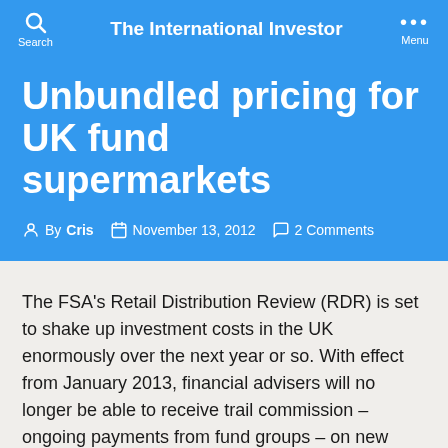The International Investor
Unbundled pricing for UK fund supermarkets
By Cris  November 13, 2012  2 Comments
The FSA's Retail Distribution Review (RDR) is set to shake up investment costs in the UK enormously over the next year or so. With effect from January 2013, financial advisers will no longer be able to receive trail commission – ongoing payments from fund groups – on new investments.